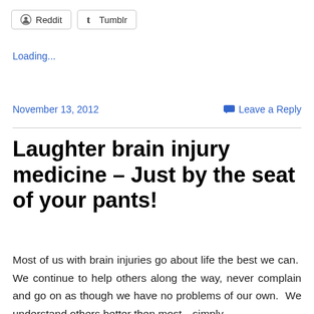Reddit  Tumblr
Loading...
November 13, 2012
Leave a Reply
Laughter brain injury medicine – Just by the seat of your pants!
Most of us with brain injuries go about life the best we can.  We continue to help others along the way, never complain and go on as though we have no problems of our own.  We understand others better then most…simply